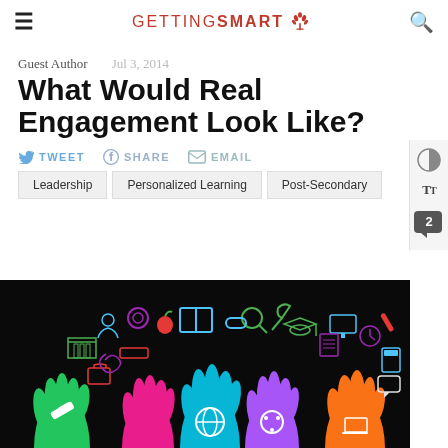GETTING SMART
Guest Author   Jul 3, 2014
What Would Real Engagement Look Like?
TWEET   SHARE   EMAIL
Leadership
Personalized Learning
Post-Secondary
[Figure (illustration): Colorful raised hands with education icons on black background — globe, books, gears, graduation cap, calculator, and other learning symbols in green, blue, purple, orange, pink colors]